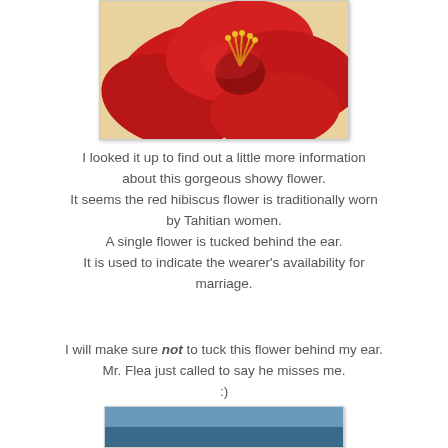[Figure (photo): Close-up photograph of a large red hibiscus flower with yellow stamens, on a warm yellow/cream background]
I looked it up to find out a little more information about this gorgeous showy flower.
It seems the red hibiscus flower is traditionally worn by Tahitian women.
A single flower is tucked behind the ear.
It is used to indicate the wearer's availability for marriage.
I will make sure not to tuck this flower behind my ear.
Mr. Flea just called to say he misses me.
:)
[Figure (photo): Partially visible photograph at the bottom of the page, appears to show an outdoor or landscape scene]